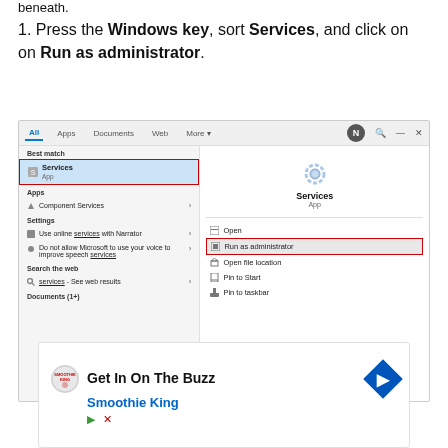beneath.
1. Press the Windows key, sort Services, and click on on Run as administrator.
[Figure (screenshot): Windows 10 search results showing 'Services' app selected with context menu displaying 'Run as administrator' option highlighted with a red border. Left panel shows Best match: Services (App), Apps: Component Services, Settings: Use online services with Narrator, Do not allow Microsoft to use your voice to improve speech services, Search the web: services - See web results, Documents (1+). Right panel shows Services icon, Open, Run as administrator (highlighted), Open file location, Pin to Start, Pin to taskbar.]
[Figure (screenshot): Advertisement banner: Get In On The Buzz - Smoothie King with logo and navigation arrow icon. Play and close buttons visible.]